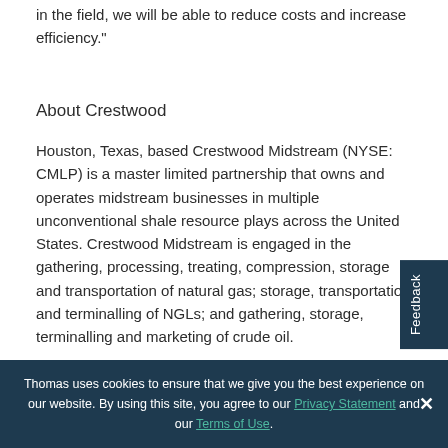in the field, we will be able to reduce costs and increase efficiency."
About Crestwood
Houston, Texas, based Crestwood Midstream (NYSE: CMLP) is a master limited partnership that owns and operates midstream businesses in multiple unconventional shale resource plays across the United States. Crestwood Midstream is engaged in the gathering, processing, treating, compression, storage and transportation of natural gas; storage, transportation and terminalling of NGLs; and gathering, storage, terminalling and marketing of crude oil.
Thomas uses cookies to ensure that we give you the best experience on our website. By using this site, you agree to our Privacy Statement and our Terms of Use.